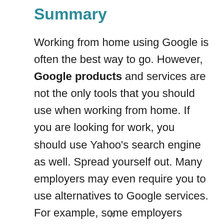Summary
Working from home using Google is often the best way to go. However, Google products and services are not the only tools that you should use when working from home. If you are looking for work, you should use Yahoo’s search engine as well. Spread yourself out. Many employers may even require you to use alternatives to Google services. For example, some employers require using Skype, rather than Google Talk.
x